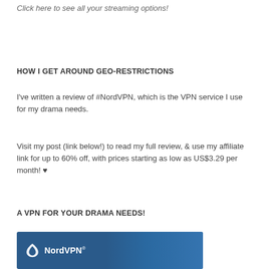Click here to see all your streaming options!
HOW I GET AROUND GEO-RESTRICTIONS
I've written a review of #NordVPN, which is the VPN service I use for my drama needs.
Visit my post (link below!) to read my full review, & use my affiliate link for up to 60% off, with prices starting as low as US$3.29 per month! ♥
A VPN FOR YOUR DRAMA NEEDS!
[Figure (photo): NordVPN advertisement image showing a woman looking at a screen with NordVPN logo]